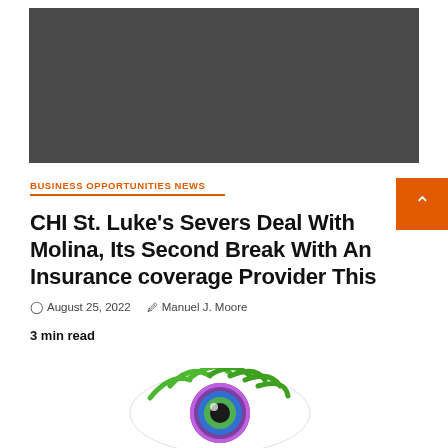[Figure (photo): Dark gray hero image placeholder at top of article]
BUSINESS OPPORTUNITIES NEWS
CHI St. Luke’s Severs Deal With Molina, Its Second Break With An Insurance coverage Provider This
© August 25, 2022   🗒 Manuel J. Moore
3 min read
[Figure (logo): Eye logo with green lashes and colorful iris, partially visible at bottom]